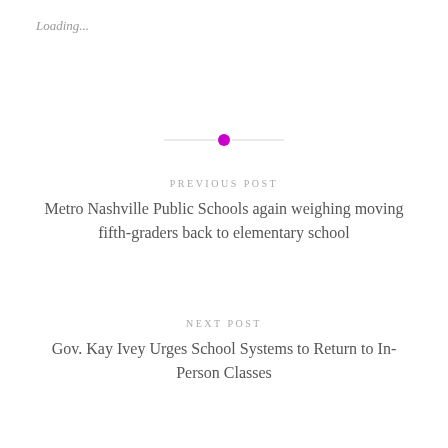Loading...
[Figure (other): Horizontal divider with a magenta/pink filled circle in the center, flanked by thin gray lines on each side]
PREVIOUS POST
Metro Nashville Public Schools again weighing moving fifth-graders back to elementary school
NEXT POST
Gov. Kay Ivey Urges School Systems to Return to In-Person Classes